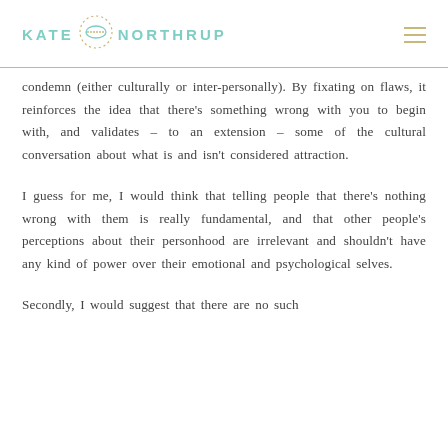KATE NORTHRUP
condemn (either culturally or inter-personally). By fixating on flaws, it reinforces the idea that there’s something wrong with you to begin with, and validates – to an extension – some of the cultural conversation about what is and isn’t considered attraction.
I guess for me, I would think that telling people that there’s nothing wrong with them is really fundamental, and that other people’s perceptions about their personhood are irrelevant and shouldn’t have any kind of power over their emotional and psychological selves.
Secondly, I would suggest that there are no such